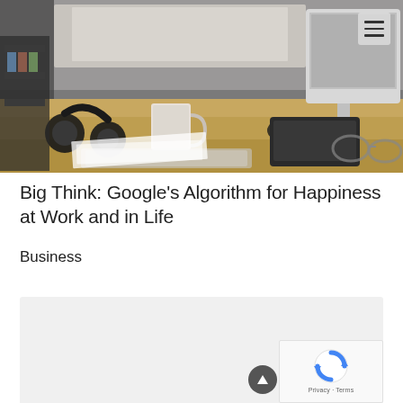[Figure (photo): Office desk scene with headphones, coffee mug, keyboard, papers, and a computer monitor in the background. Dark, moody workspace photo.]
Big Think: Google’s Algorithm for Happiness at Work and in Life
Business
[Figure (other): Gray placeholder content box at the bottom of the page with a reCAPTCHA widget in the bottom right corner.]